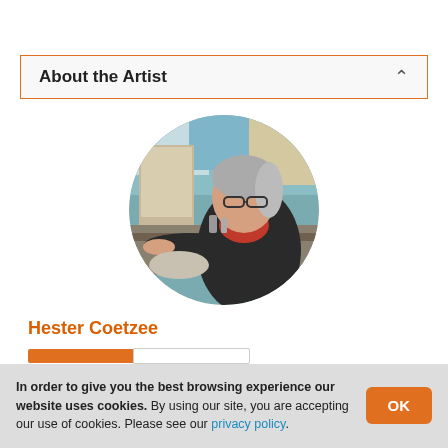About the Artist
[Figure (photo): Circular portrait photo of artist Hester Coetzee painting in an art studio, with canvases and art supplies visible in the background.]
Hester Coetzee
In order to give you the best browsing experience our website uses cookies. By using our site, you are accepting our use of cookies. Please see our privacy policy.